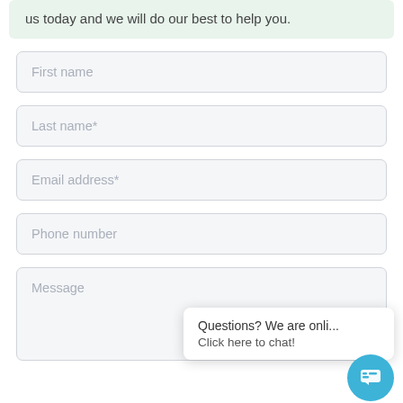us today and we will do our best to help you.
First name
Last name*
Email address*
Phone number
Message
Questions? We are onli...
Click here to chat!